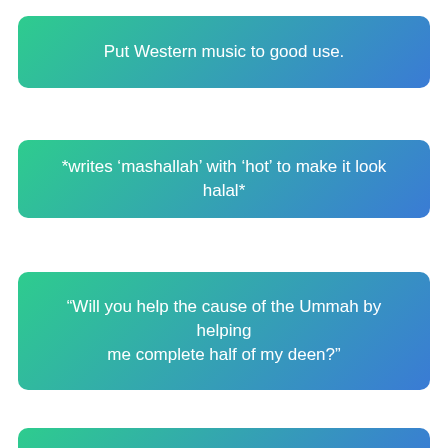Put Western music to good use.
*writes ‘mashallah’ with ‘hot’ to make it look halal*
“Will you help the cause of the Ummah by helping me complete half of my deen?”